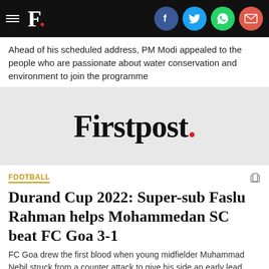F. [Firstpost logo/header bar with social icons: Facebook, Twitter, WhatsApp, Email]
Ahead of his scheduled address, PM Modi appealed to the people who are passionate about water conservation and environment to join the programme
[Figure (logo): Firstpost. logo on light grey background]
FOOTBALL
Durand Cup 2022: Super-sub Faslu Rahman helps Mohammedan SC beat FC Goa 3-1
FC Goa drew the first blood when young midfielder Muhammad Nebil struck from a counter attack to give his side an early lead.